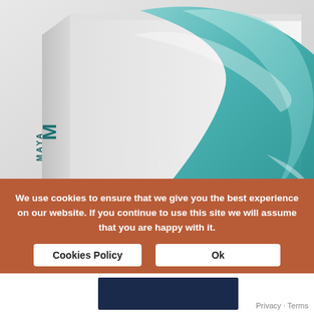[Figure (photo): Autodesk Maya 2021 software product box with teal and white design, showing M Maya logo on side and Autodesk logo on front]
Autodesk Maya 2021
$ 1,631.00 – $ 4,700.00 +
AED |.>
USD $
We use cookies to ensure that we give you the best experience on our website. If you continue to use this site we will assume that you are happy with it.
Cookies Policy
Ok
Privacy · Terms